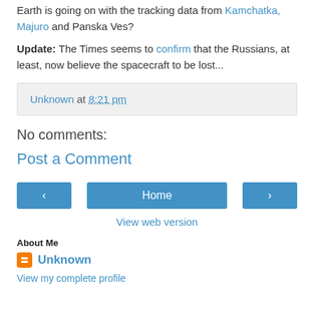Earth is going on with the tracking data from Kamchatka, Majuro and Panska Ves?
Update: The Times seems to confirm that the Russians, at least, now believe the spacecraft to be lost...
Unknown at 8:21 pm
No comments:
Post a Comment
Home
View web version
About Me
Unknown
View my complete profile